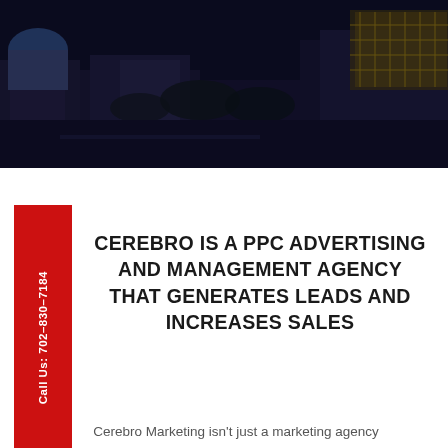[Figure (photo): Aerial night view of a large commercial or casino complex with illuminated buildings, domed roof, and surrounding parking areas. Dark overlay applied.]
CEREBRO IS A PPC ADVERTISING AND MANAGEMENT AGENCY THAT GENERATES LEADS AND INCREASES SALES
Call Us: 702-830-7184
Cerebro Marketing isn't just a marketing agency